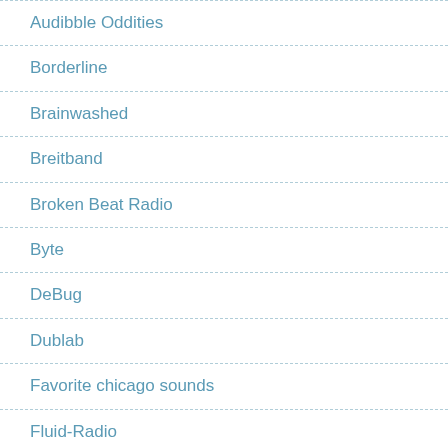Audibble Oddities
Borderline
Brainwashed
Breitband
Broken Beat Radio
Byte
DeBug
Dublab
Favorite chicago sounds
Fluid-Radio